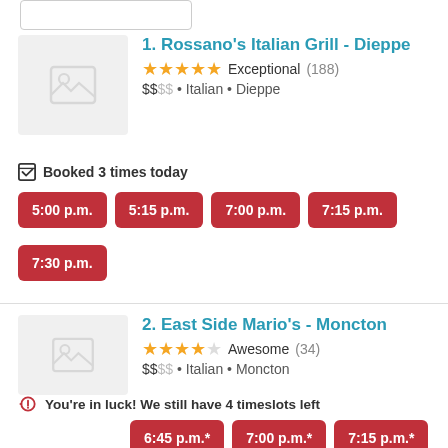[Figure (screenshot): Partial search bar at top]
1. Rossano's Italian Grill - Dieppe
★★★★½ Exceptional (188)
$$•• • Italian • Dieppe
Booked 3 times today
5:00 p.m.
5:15 p.m.
7:00 p.m.
7:15 p.m.
7:30 p.m.
2. East Side Mario's - Moncton
★★★★½ Awesome (34)
$$•• • Italian • Moncton
You're in luck! We still have 4 timeslots left
6:45 p.m.*
7:00 p.m.*
7:15 p.m.*